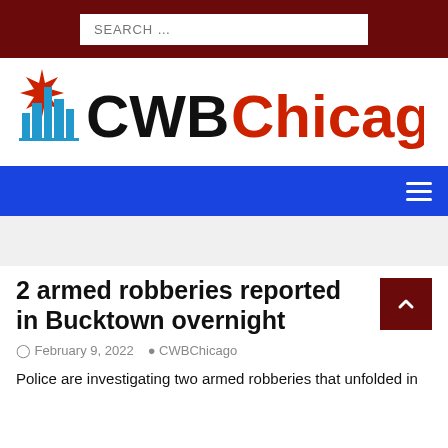SEARCH ...
[Figure (logo): CWBChicago logo with red star and blue city skyline icon, text 'CWB' in black and 'Chicago' in red]
Navigation menu bar with hamburger icon
2 armed robberies reported in Bucktown overnight
February 9, 2022  CWBChicago
Police are investigating two armed robberies that unfolded in